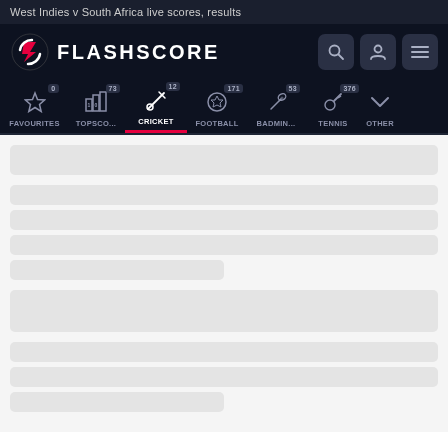West Indies v South Africa live scores, results
[Figure (screenshot): Flashscore website header with logo, search icon, user icon, and menu icon on dark navy background]
[Figure (screenshot): Navigation bar with sport categories: FAVOURITES (0), TOPSCO... (73), CRICKET (12, active/selected), FOOTBALL (171), BADMIN... (53), TENNIS (376), OTHER with expand arrow. CRICKET is underlined in red.]
[Figure (screenshot): Loading skeleton placeholder rows showing grey bars of varying widths representing content loading state]